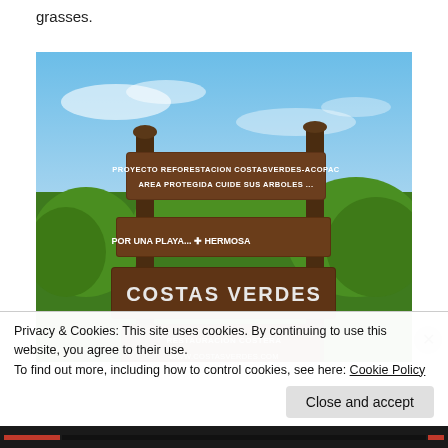grasses.
[Figure (photo): Outdoor wooden sign in a green tropical setting with blue sky. The sign reads: PROYECTO REFORESTACION COSTASVERDES-ACOPAC / AREA PROTEGIDA CUIDE SUS ARBOLES... (top board), POR UNA PLAYA... + HERMOSA (middle board), COSTAS VERDES (large middle board), RESTAURACION COSTERA / WWW.COSTASVERDES.COM (bottom board).]
Privacy & Cookies: This site uses cookies. By continuing to use this website, you agree to their use.
To find out more, including how to control cookies, see here: Cookie Policy
Close and accept